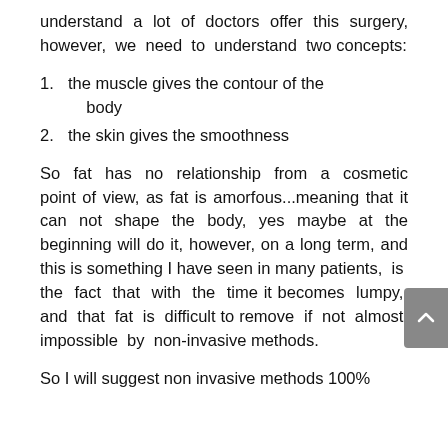understand a lot of doctors offer this surgery, however, we need to understand two concepts:
1. the muscle gives the contour of the body
2. the skin gives the smoothness
So fat has no relationship from a cosmetic point of view, as fat is amorfous...meaning that it can not shape the body, yes maybe at the beginning will do it, however, on a long term, and this is something I have seen in many patients, is the fact that with the time it becomes lumpy, and that fat is difficult to remove if not almost impossible by non-invasive methods.
So I will suggest non invasive methods 100%